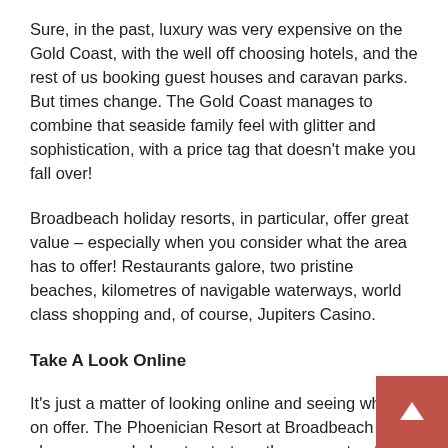Sure, in the past, luxury was very expensive on the Gold Coast, with the well off choosing hotels, and the rest of us booking guest houses and caravan parks. But times change. The Gold Coast manages to combine that seaside family feel with glitter and sophistication, with a price tag that doesn't make you fall over!
Broadbeach holiday resorts, in particular, offer great value – especially when you consider what the area has to offer! Restaurants galore, two pristine beaches, kilometres of navigable waterways, world class shopping and, of course, Jupiters Casino.
Take A Look Online
It's just a matter of looking online and seeing what's on offer. The Phoenician Resort at Broadbeach is always a good place to start, as they seem to offer hot deals all year round. And that's